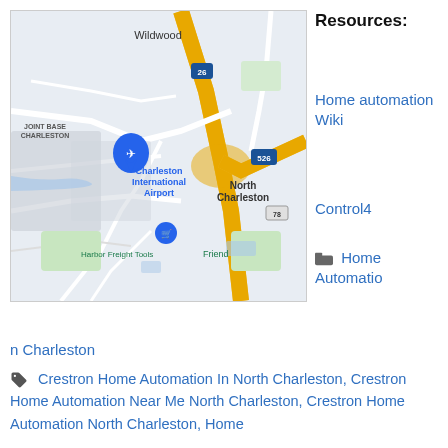[Figure (map): Google Maps view of Charleston International Airport area, showing North Charleston, Joint Base Charleston, Harbor Freight Tools, Wildwood, and highway interchanges for I-26 and I-526.]
Resources:
Home automation Wiki
Control4
Home Automation Charleston
Crestron Home Automation In North Charleston, Crestron Home Automation Near Me North Charleston, Crestron Home Automation North Charleston, Home